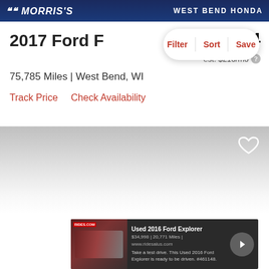MORRIS'S | WEST BEND HONDA
2017 Ford F
$14,994
est. $216/mo
75,785 Miles | West Bend, WI
Track Price   Check Availability
[Figure (screenshot): Filter, Sort, Save pill button overlay]
[Figure (photo): Gray gradient image placeholder area with heart icon]
[Figure (infographic): Ad banner for Used 2016 Ford Explorer showing vehicle image, price, mileage, and a call-to-action arrow button]